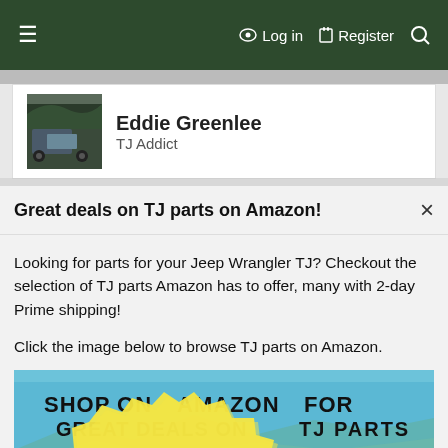≡   🔑 Log in   📋 Register   🔍
[Figure (photo): User avatar photo of Eddie Greenlee showing a jeep on a trail]
Eddie Greenlee
TJ Addict
Great deals on TJ parts on Amazon!
Looking for parts for your Jeep Wrangler TJ? Checkout the selection of TJ parts Amazon has to offer, many with 2-day Prime shipping!
Click the image below to browse TJ parts on Amazon.
[Figure (advertisement): Amazon advertisement banner showing a Jeep Wrangler TJ with text: SHOP ON AMAZON FOR GREAT DEALS ON TJ PARTS. Yellow starburst with CLICK HERE TO SHOP ON AMAZON.]